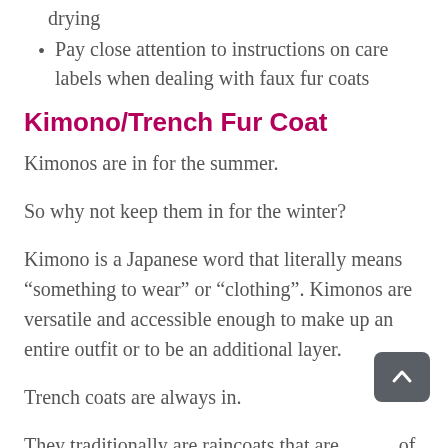drying
Pay close attention to instructions on care labels when dealing with faux fur coats
Kimono/Trench Fur Coat
Kimonos are in for the summer.
So why not keep them in for the winter?
Kimono is a Japanese word that literally means “something to wear” or “clothing”. Kimonos are versatile and accessible enough to make up an entire outfit or to be an additional layer.
Trench coats are always in.
They traditionally are raincoats that are made of heavy duty waterproof materials. These timeless beauties add a sense of grace and mystery to your